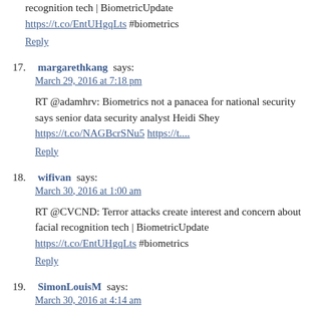recognition tech | BiometricUpdate https://t.co/EntUHgqLts #biometrics
Reply
17. margarethkang says: March 29, 2016 at 7:18 pm
RT @adamhrv: Biometrics not a panacea for national security says senior data security analyst Heidi Shey https://t.co/NAGBcrSNu5 https://t....
Reply
18. wifivan says: March 30, 2016 at 1:00 am
RT @CVCND: Terror attacks create interest and concern about facial recognition tech | BiometricUpdate https://t.co/EntUHgqLts #biometrics
Reply
19. SimonLouisM says: March 30, 2016 at 4:14 am